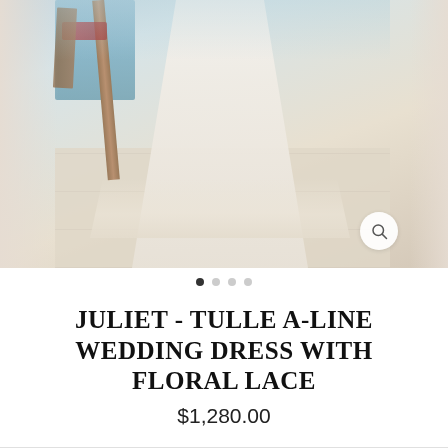[Figure (photo): A woman wearing a white tulle A-line wedding dress with floral lace, photographed outdoors near a pool or waterway. The image shows the lower portion of the dress with a flowing skirt and lace details. Wooden dock elements and stone tile floor are visible. The image has a soft, slightly blurred aesthetic with faded left and right edges suggesting a carousel view.]
JULIET - TULLE A-LINE WEDDING DRESS WITH FLORAL LACE
$1,280.00